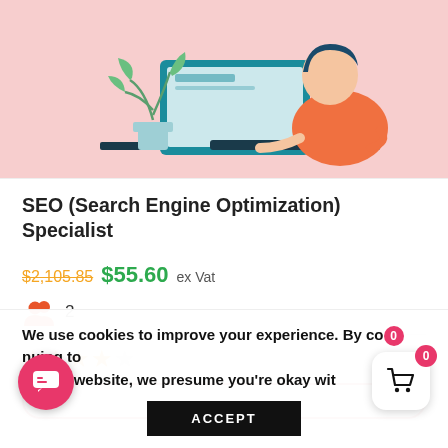[Figure (illustration): Illustration of a person with short dark hair wearing an orange top, sitting at a desk with a teal computer monitor, with a potted plant on the left, on a pink background.]
SEO (Search Engine Optimization) Specialist
$2,105.85 $55.60 ex Vat
2 students
4 out of 5 stars rating
We use cookies to improve your experience. By continuing to use this website, we presume you're okay with
ACCEPT